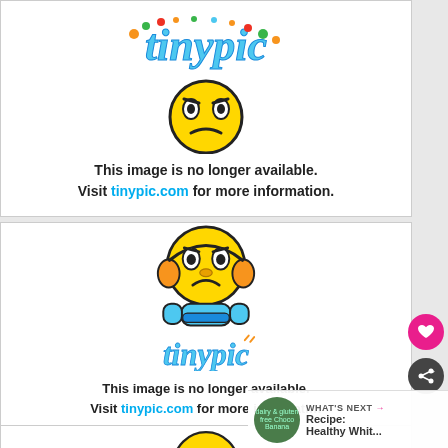[Figure (illustration): TinyPic 'image no longer available' placeholder with emoji mascot and logo - top block]
This image is no longer available. Visit tinypic.com for more information.
[Figure (illustration): TinyPic 'image no longer available' placeholder with emoji mascot and logo - middle block]
This image is no longer available. Visit tinypic.com for more information.
[Figure (illustration): TinyPic placeholder - bottom partial block showing top of emoji head]
WHAT'S NEXT → Recipe: Healthy Whit...